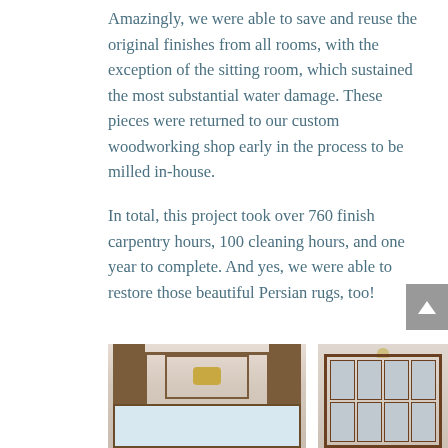Amazingly, we were able to save and reuse the original finishes from all rooms, with the exception of the sitting room, which sustained the most substantial water damage. These pieces were returned to our custom woodworking shop early in the process to be milled in-house.
In total, this project took over 760 finish carpentry hours, 100 cleaning hours, and one year to complete. And yes, we were able to restore those beautiful Persian rugs, too!
[Figure (photo): Interior photo of a room showing coffered ceiling with dark wood trim molding, chandelier, and windows with white curtains below]
[Figure (photo): Interior photo of a room showing dark wood framed windows with four panes in an X-pattern design and wall molding]